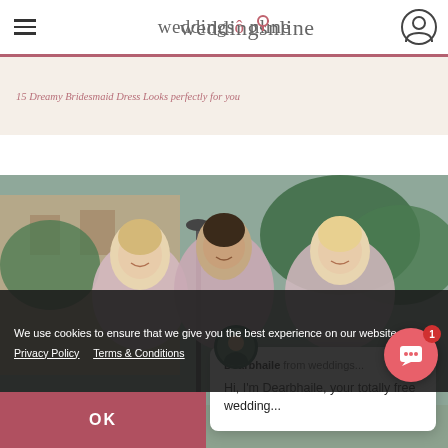weddingsonline
15 Dreamy Bridesmaid Dress Looks perfectly for you
[Figure (photo): Three bridesmaids in dusty rose/mauve dresses smiling outdoors in front of a building with trees]
Dearbhaile from weddings... Hi, I'm Dearbhaile, your totally free wedding...
We use cookies to ensure that we give you the best experience on our website. Privacy Policy  Terms & Conditions